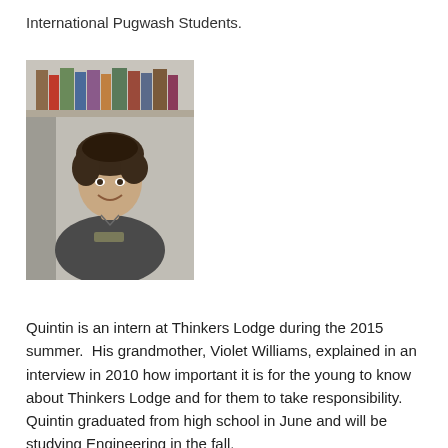International Pugwash Students.
[Figure (photo): Young man with curly dark hair smiling, wearing a dark gray t-shirt, standing in front of bookshelves]
Quintin is an intern at Thinkers Lodge during the 2015 summer.  His grandmother, Violet Williams, explained in an interview in 2010 how important it is for the young to know about Thinkers Lodge and for them to take responsibility.  Quintin graduated from high school in June and will be studying Engineering in the fall.